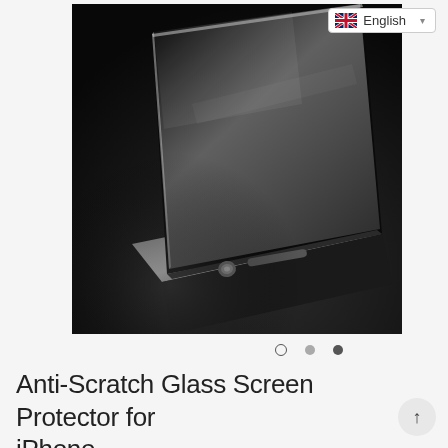[Figure (photo): Product photo of a glass screen protector placed on a smartphone (iPhone), photographed at an angle on a dark textured surface. The image shows the screen protector glass covering the phone screen, with slider and home button area visible at the bottom. Dark, dramatic lighting.]
Anti-Scratch Glass Screen Protector for iPhone